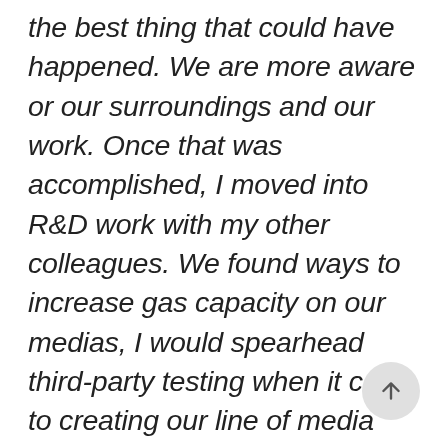the best thing that could have happened. We are more aware or our surroundings and our work. Once that was accomplished, I moved into R&D work with my other colleagues. We found ways to increase gas capacity on our medias, I would spearhead third-party testing when it came to creating our line of media used for Grow Houses, and I would also be innovating outside of the lab. There were other departments that would need help and simple tasks like having logistics